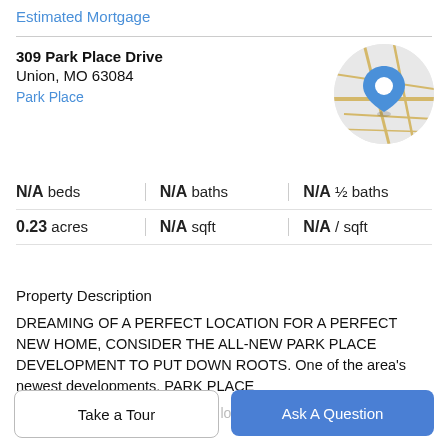Estimated Mortgage
309 Park Place Drive
Union, MO 63084
Park Place
[Figure (map): Circular map thumbnail showing street map with a blue location pin marker]
| N/A beds | N/A baths | N/A ½ baths |
| 0.23 acres | N/A sqft | N/A / sqft |
Property Description
DREAMING OF A PERFECT LOCATION FOR A PERFECT NEW HOME, CONSIDER THE ALL-NEW PARK PLACE DEVELOPMENT TO PUT DOWN ROOTS. One of the area's newest developments, PARK PLACE
has an abundance to offer those looking for well built
Take a Tour
Ask A Question